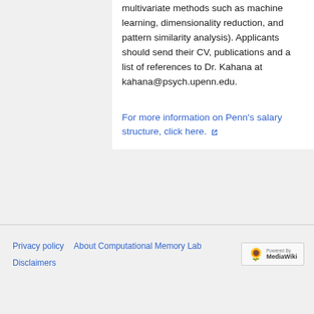multivariate methods such as machine learning, dimensionality reduction, and pattern similarity analysis). Applicants should send their CV, publications and a list of references to Dr. Kahana at kahana@psych.upenn.edu.
For more information on Penn's salary structure, click here.
Privacy policy   About Computational Memory Lab   Disclaimers